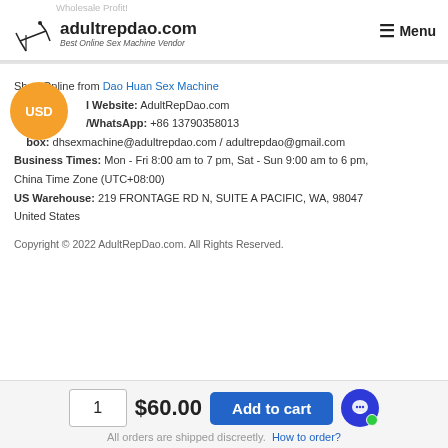adultrepdao.com — Best Online Sex Machine Vendor — Menu
Shop Online from Dao Huan Sex Machine
Official Website: AdultRepDao.com
WhatsApp: +86 13790358013
Inbox: dhsexmachine@adultrepdao.com / adultrepdao@gmail.com
Business Times: Mon - Fri 8:00 am to 7 pm, Sat - Sun 9:00 am to 6 pm, China Time Zone (UTC+08:00)
US Warehouse: 219 FRONTAGE RD N, SUITE A PACIFIC, WA, 98047 United States
Copyright © 2022 AdultRepDao.com. All Rights Reserved.
1  $60.00  Add to cart
All orders are shipped discreetly.  How to order?